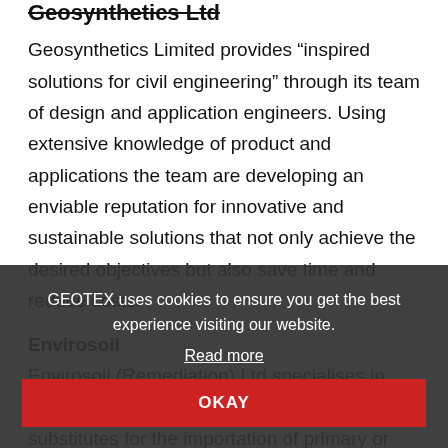Geosynthetics Ltd
Geosynthetics Limited provides “inspired solutions for civil engineering” through its team of design and application engineers. Using extensive knowledge of product and applications the team are developing an enviable reputation for innovative and sustainable solutions that not only achieve the desired objectives but also save time and reduce costs.
Envirosoil
Envirosoil (Remediation) Ltd specialises in Soil Stabilisation. We offer this technique as substitutes for the importation of primary or secondary aggregates and the export of waste to tip. This results in a saving at least equal to the disposal cost of the waste
GEOTEX uses cookies to ensure you get the best experience visiting our website.
Read more
OKAY